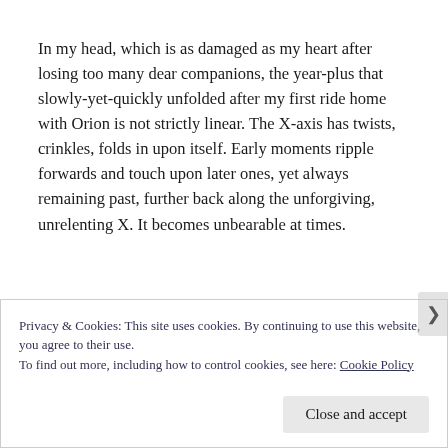In my head, which is as damaged as my heart after losing too many dear companions, the year-plus that slowly-yet-quickly unfolded after my first ride home with Orion is not strictly linear. The X-axis has twists, crinkles, folds in upon itself. Early moments ripple forwards and touch upon later ones, yet always remaining past, further back along the unforgiving, unrelenting X. It becomes unbearable at times.
Privacy & Cookies: This site uses cookies. By continuing to use this website, you agree to their use.
To find out more, including how to control cookies, see here: Cookie Policy
Close and accept